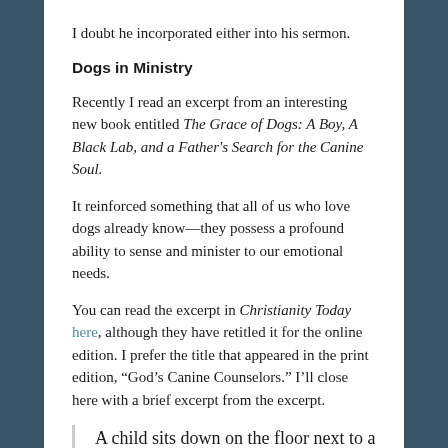I doubt he incorporated either into his sermon.
Dogs in Ministry
Recently I read an excerpt from an interesting new book entitled The Grace of Dogs: A Boy, A Black Lab, and a Father's Search for the Canine Soul.
It reinforced something that all of us who love dogs already know—they possess a profound ability to sense and minister to our emotional needs.
You can read the excerpt in Christianity Today here, although they have retitled it for the online edition. I prefer the title that appeared in the print edition, “God’s Canine Counselors.” I’ll close here with a brief excerpt from the excerpt.
A child sits down on the floor next to a dog and reads aloud from a book. There is something magical about it. After lying next to Pepper, a slightly overweight